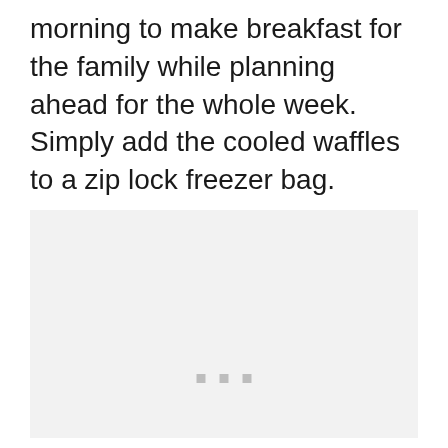morning to make breakfast for the family while planning ahead for the whole week. Simply add the cooled waffles to a zip lock freezer bag.
[Figure (photo): A light gray placeholder image area with three small gray dots near the bottom center, indicating a loading or placeholder state.]